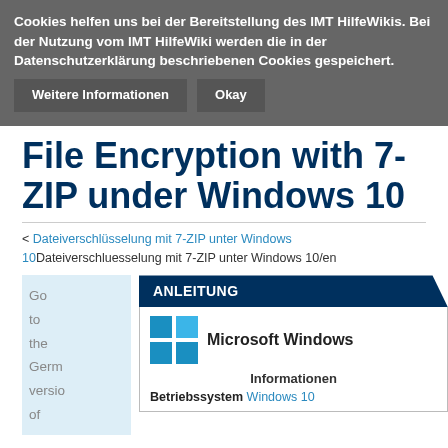Cookies helfen uns bei der Bereitstellung des IMT HilfeWikis. Bei der Nutzung vom IMT HilfeWiki werden die in der Datenschutzerklärung beschriebenen Cookies gespeichert. Weitere Informationen Okay
File Encryption with 7-ZIP under Windows 10
< Dateiverschlüsselung mit 7-ZIP unter Windows 10Dateiverschluesselung mit 7-ZIP unter Windows 10/en
Go to the German version of
ANLEITUNG
[Figure (logo): Microsoft Windows logo with four blue tiles in a grid]
Microsoft Windows
Informationen
Betriebssystem Windows 10